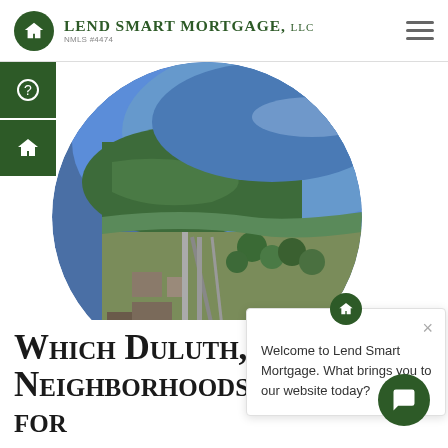Lend Smart Mortgage, LLC — NMLS #4474
[Figure (photo): Aerial/overhead view of Duluth, Minnesota coastline showing Lake Superior and city neighborhoods in a circular crop]
[Figure (screenshot): Chat widget popup with home icon button and close X, showing welcome message: Welcome to Lend Smart Mortgage. What brings you to our website today?]
Which Duluth, Minnesota Neighborhoods Are Best For